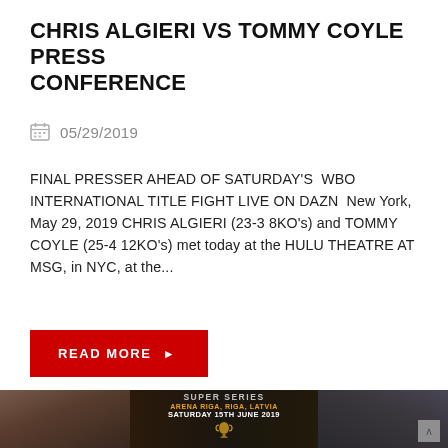CHRIS ALGIERI VS TOMMY COYLE PRESS CONFERENCE
05/29/2019
FINAL PRESSER AHEAD OF SATURDAY'S  WBO INTERNATIONAL TITLE FIGHT LIVE ON DAZN  New York, May 29, 2019 CHRIS ALGIERI (23-3 8KO's) and TOMMY COYLE (25-4 12KO's) met today at the HULU THEATRE AT MSG, in NYC, at the...
READ MORE ▶
[Figure (photo): Promotional boxing event image showing two fighters' faces on either side with text: SUPER SERIES, ARENA RIGA, RIGA, LATVIA, SATURDAY 15TH JUNE 2019, and a trophy in the center on a dark background.]